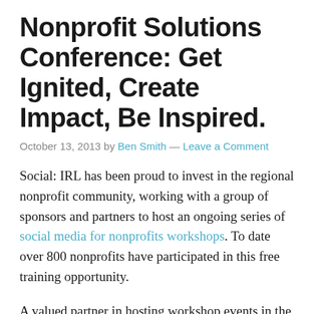Nonprofit Solutions Conference: Get Ignited, Create Impact, Be Inspired.
October 13, 2013 by Ben Smith — Leave a Comment
Social: IRL has been proud to invest in the regional nonprofit community, working with a group of sponsors and partners to host an ongoing series of social media for nonprofits workshops. To date over 800 nonprofits have participated in this free training opportunity.
A valued partner in hosting workshop events in the Kansas City area has been Nonprofit Connect, a membership organization that links the nonprofit community to education, resources and